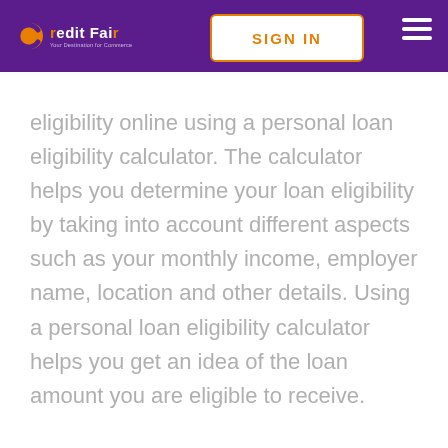CreditFair — Sign In button and hamburger menu
eligibility online using a personal loan eligibility calculator. The calculator helps you determine your loan eligibility by taking into account different aspects such as your monthly income, employer name, location and other details. Using a personal loan eligibility calculator helps you get an idea of the loan amount you are eligible to receive.